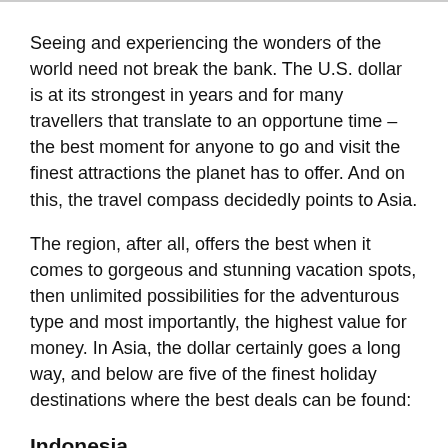Seeing and experiencing the wonders of the world need not break the bank. The U.S. dollar is at its strongest in years and for many travellers that translate to an opportune time – the best moment for anyone to go and visit the finest attractions the planet has to offer. And on this, the travel compass decidedly points to Asia.
The region, after all, offers the best when it comes to gorgeous and stunning vacation spots, then unlimited possibilities for the adventurous type and most importantly, the highest value for money. In Asia, the dollar certainly goes a long way, and below are five of the finest holiday destinations where the best deals can be found:
Indonesia